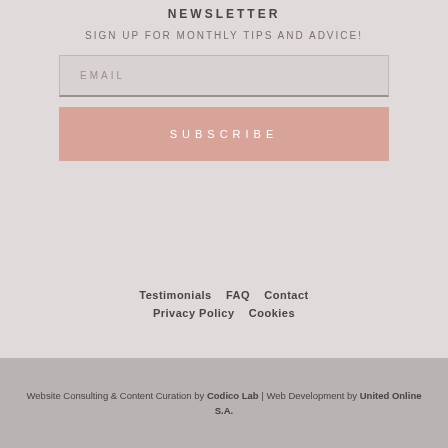NEWSLETTER
SIGN UP FOR MONTHLY TIPS AND ADVICE!
EMAIL
SUBSCRIBE
Testimonials    FAQ    Contact
Privacy Policy    Cookies
Website Consulting & Content Curation by Codico Lab | Web Development by United Online S.A.